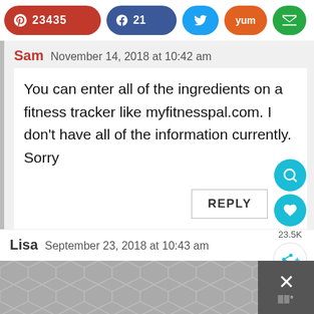[Figure (screenshot): Social share bar with Pinterest (23435), Facebook (21), Twitter, Yummly, and Email buttons]
Sam  November 14, 2018 at 10:42 am
You can enter all of the ingredients on a fitness tracker like myfitnesspal.com. I don't have all of the information currently. Sorry
REPLY
23.5K
Lisa  September 23, 2018 at 10:43 am